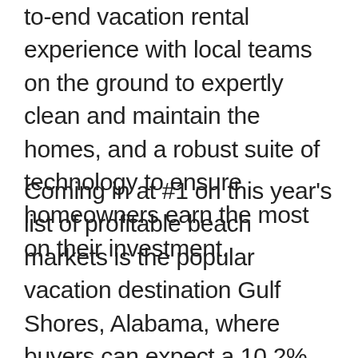to-end vacation rental experience with local teams on the ground to expertly clean and maintain the homes, and a robust suite of technology to ensure homeowners earn the most on their investment.
Coming in at #1 on this year's list of profitable beach markets is the popular vacation destination Gulf Shores, Alabama, where buyers can expect a 10.2% cap rate and can earn around $56,000 in annual gross rental revenue. The top markets on this year's list include: